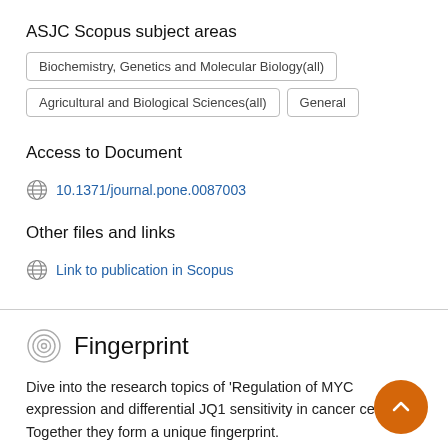ASJC Scopus subject areas
Biochemistry, Genetics and Molecular Biology(all)
Agricultural and Biological Sciences(all)
General
Access to Document
10.1371/journal.pone.0087003
Other files and links
Link to publication in Scopus
Fingerprint
Dive into the research topics of 'Regulation of MYC expression and differential JQ1 sensitivity in cancer ce... Together they form a unique fingerprint.